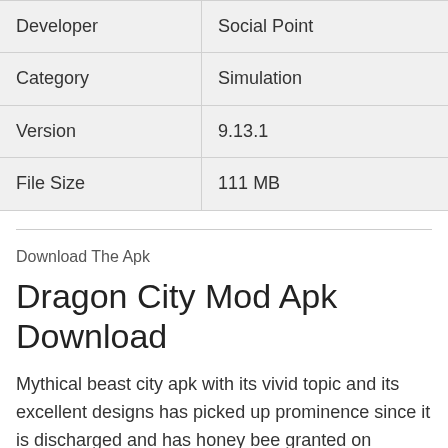| Developer | Social Point |
| Category | Simulation |
| Version | 9.13.1 |
| File Size | 111 MB |
Download The Apk
Dragon City Mod Apk Download
Mythical beast city apk with its vivid topic and its excellent designs has picked up prominence since it is discharged and has honey bee granted on various stages. Play this key game to hone your mind and have a fabulous time.